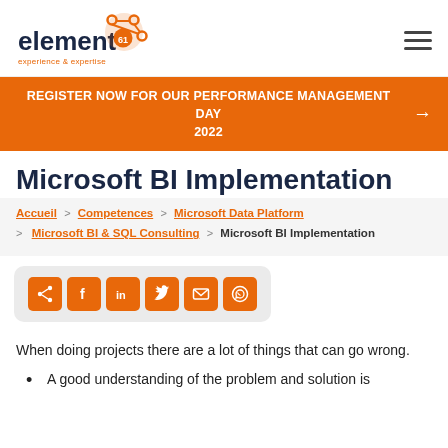element61 experience & expertise [logo] [hamburger menu]
REGISTER NOW FOR OUR PERFORMANCE MANAGEMENT DAY 2022 →
Microsoft BI Implementation
Accueil > Competences > Microsoft Data Platform > Microsoft BI & SQL Consulting > Microsoft BI Implementation
[Figure (infographic): Social share buttons: Share, Facebook, LinkedIn, Twitter, Email, WhatsApp — orange square icons]
When doing projects there are a lot of things that can go wrong.
A good understanding of the problem and solution is